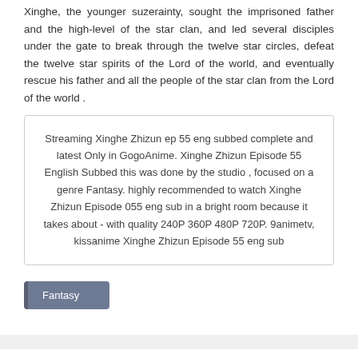Xinghe, the younger suzerainty, sought the imprisoned father and the high-level of the star clan, and led several disciples under the gate to break through the twelve star circles, defeat the twelve star spirits of the Lord of the world, and eventually rescue his father and all the people of the star clan from the Lord of the world .
Streaming Xinghe Zhizun ep 55 eng subbed complete and latest Only in GogoAnime. Xinghe Zhizun Episode 55 English Subbed this was done by the studio , focused on a genre Fantasy. highly recommended to watch Xinghe Zhizun Episode 055 eng sub in a bright room because it takes about - with quality 240P 360P 480P 720P. 9animetv, kissanime Xinghe Zhizun Episode 55 eng sub
Fantasy
When there is eps error or wrong video, Please use another available server Xinghe Zhizun Episode 55 eng sub, kissanime Report in the comment box so that it can be fixed immediately